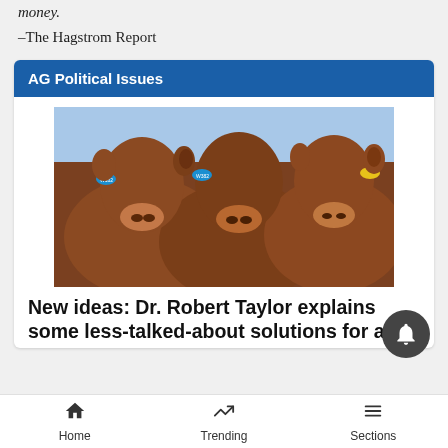money.
–The Hagstrom Report
AG Political Issues
[Figure (photo): Close-up photo of several brown cattle with ear tags looking at the camera, standing in a herd outdoors.]
New ideas: Dr. Robert Taylor explains some less-talked-about solutions for a